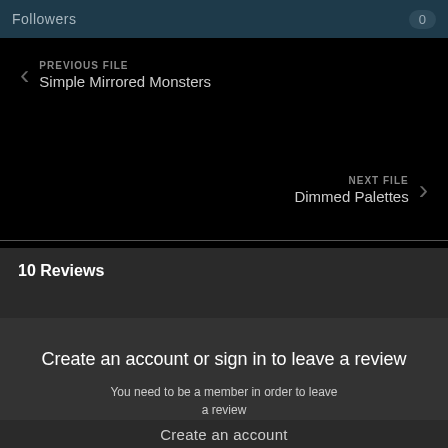Followers  0
PREVIOUS FILE
Simple Mirrored Monsters
NEXT FILE
Dimmed Palettes
10 Reviews
Create an account or sign in to leave a review
You need to be a member in order to leave a review
Create an account